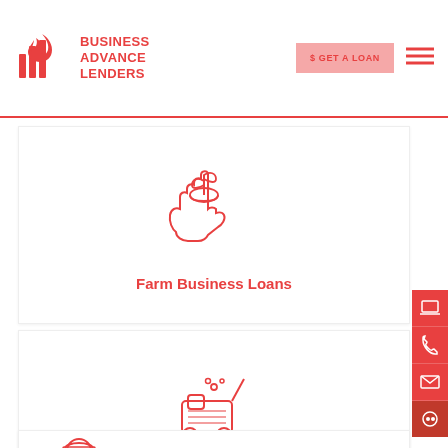BUSINESS ADVANCE LENDERS — $ GET A LOAN
[Figure (illustration): Red outline icon of a hand holding a plant/seedling with a coin, representing farm business loans]
Farm Business Loans
[Figure (illustration): Red outline icon of a floor cleaning machine/vacuum with a mop, representing flooring business loans]
Flooring Business Loans
[Figure (illustration): Red outline icon of a person with a hard hat, representing another business loan type (partially visible)]